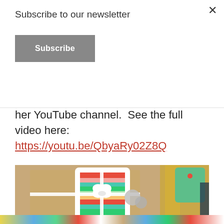Subscribe to our newsletter
Subscribe
her YouTube channel.  See the full video here: https://youtu.be/QbyaRy02Z8Q
[Figure (photo): Close-up photo of Christmas gift wrapped in brown kraft paper with colorful striped gift tag and white bow, silver jingle bells, and gold ribbon in background. Bottom bar shows 'MADE BY Rebecca Keppel' and 'WAFFLE FLOWER.COM' branding.]